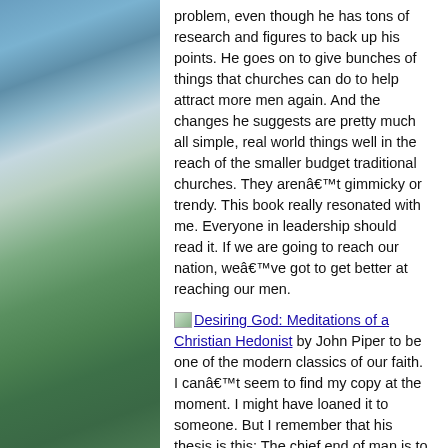[Figure (photo): Outdoor landscape photo showing a blue cloudy sky and green fields, positioned on the left side of the page as background.]
problem, even though he has tons of research and figures to back up his points. He goes on to give bunches of things that churches can do to help attract more men again. And the changes he suggests are pretty much all simple, real world things well in the reach of the smaller budget traditional churches. They arenâ€™t gimmicky or trendy. This book really resonated with me. Everyone in leadership should read it. If we are going to reach our nation, weâ€™ve got to get better at reaching our men.
Desiring God: Meditations of a Christian Hedonist by John Piper to be one of the modern classics of our faith. I canâ€™t seem to find my copy at the moment. I might have loaned it to someone. But I remember that his thesis is this: The chief end of man is to glorify God by...